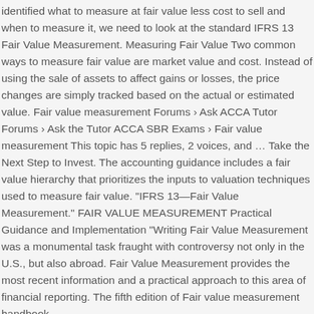identified what to measure at fair value less cost to sell and when to measure it, we need to look at the standard IFRS 13 Fair Value Measurement. Measuring Fair Value Two common ways to measure fair value are market value and cost. Instead of using the sale of assets to affect gains or losses, the price changes are simply tracked based on the actual or estimated value. Fair value measurement Forums › Ask ACCA Tutor Forums › Ask the Tutor ACCA SBR Exams › Fair value measurement This topic has 5 replies, 2 voices, and … Take the Next Step to Invest. The accounting guidance includes a fair value hierarchy that prioritizes the inputs to valuation techniques used to measure fair value. "IFRS 13—Fair Value Measurement." FAIR VALUE MEASUREMENT Practical Guidance and Implementation "Writing Fair Value Measurement was a monumental task fraught with controversy not only in the U.S., but also abroad. Fair Value Measurement provides the most recent information and a practical approach to this area of financial reporting. The fifth edition of Fair value measurement handbook